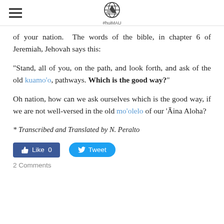#huiMAU logo header with hamburger menu
of your nation. The words of the bible, in chapter 6 of Jeremiah, Jehovah says this:
“Stand, all of you, on the path, and look forth, and ask of the old kuamoʻo, pathways. Which is the good way?”
Oh nation, how can we ask ourselves which is the good way, if we are not well-versed in the old moʻolelo of our ʻĀina Aloha?
* Transcribed and Translated by N. Peralto
[Figure (other): Facebook Like button showing 0 likes and Twitter Tweet button]
2 Comments